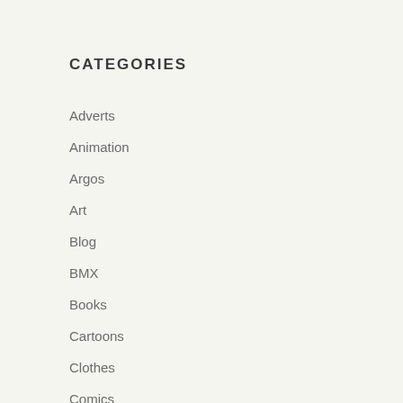CATEGORIES
Adverts
Animation
Argos
Art
Blog
BMX
Books
Cartoons
Clothes
Comics
Ephemera
Events
Food